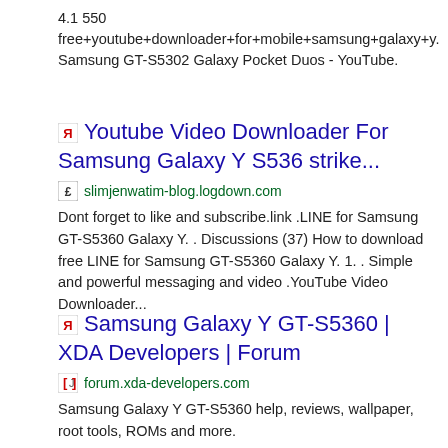4.1 550
free+youtube+downloader+for+mobile+samsung+galaxy+y.
Samsung GT-S5302 Galaxy Pocket Duos - YouTube.
Youtube Video Downloader For Samsung Galaxy Y S536 strike...
slimjenwatim-blog.logdown.com
Dont forget to like and subscribe.link .LINE for Samsung GT-S5360 Galaxy Y. . Discussions (37) How to download free LINE for Samsung GT-S5360 Galaxy Y. 1. . Simple and powerful messaging and video .YouTube Video Downloader...
Samsung Galaxy Y GT-S5360 | XDA Developers | Forum
forum.xda-developers.com
Samsung Galaxy Y GT-S5360 help, reviews, wallpaper, root tools, ROMs and more.